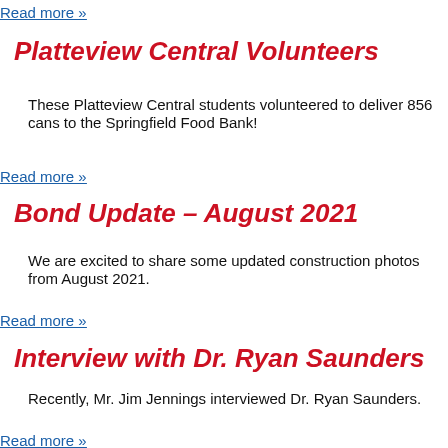Read more »
Platteview Central Volunteers
These Platteview Central students volunteered to deliver 856 cans to the Springfield Food Bank!
Read more »
Bond Update – August 2021
We are excited to share some updated construction photos from August 2021.
Read more »
Interview with Dr. Ryan Saunders
Recently, Mr. Jim Jennings interviewed Dr. Ryan Saunders.
Read more »